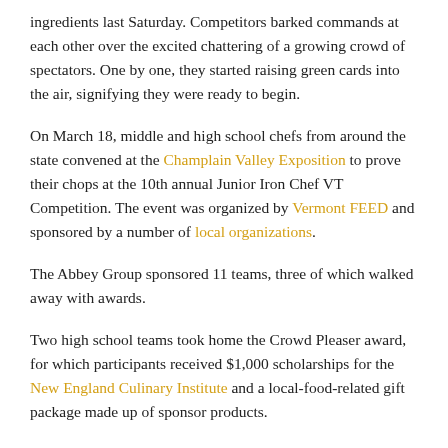ingredients last Saturday. Competitors barked commands at each other over the excited chattering of a growing crowd of spectators. One by one, they started raising green cards into the air, signifying they were ready to begin.
On March 18, middle and high school chefs from around the state convened at the Champlain Valley Exposition to prove their chops at the 10th annual Junior Iron Chef VT Competition. The event was organized by Vermont FEED and sponsored by a number of local organizations.
The Abbey Group sponsored 11 teams, three of which walked away with awards.
Two high school teams took home the Crowd Pleaser award, for which participants received $1,000 scholarships for the New England Culinary Institute and a local-food-related gift package made up of sponsor products.
The Kindle Farm from Kindle Farm School were the...